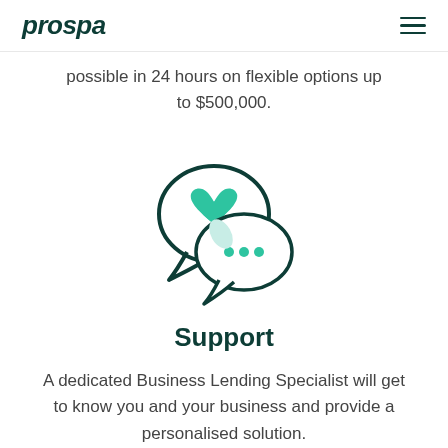prospa
possible in 24 hours on flexible options up to $500,000.
[Figure (illustration): Two speech bubbles icon: a larger bubble in the back with a green heart inside, and a smaller bubble in front with three teal dots, rendered in dark green outline style.]
Support
A dedicated Business Lending Specialist will get to know you and your business and provide a personalised solution.